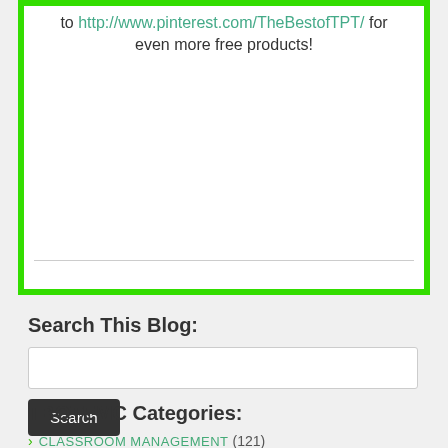to http://www.pinterest.com/TheBestofTPT/ for even more free products!
Search This Blog:
TBOTEMC Categories:
CLASSROOM MANAGEMENT (121)